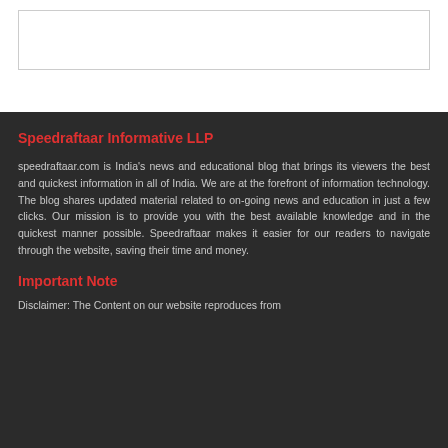[Figure (other): Empty white box with border at top of page]
Speedraftaar Informative LLP
speedraftaar.com is India's news and educational blog that brings its viewers the best and quickest information in all of India. We are at the forefront of information technology. The blog shares updated material related to on-going news and education in just a few clicks. Our mission is to provide you with the best available knowledge and in the quickest manner possible. Speedraftaar makes it easier for our readers to navigate through the website, saving their time and money.
Important Note
Disclaimer: The Content on our website reproduces from...